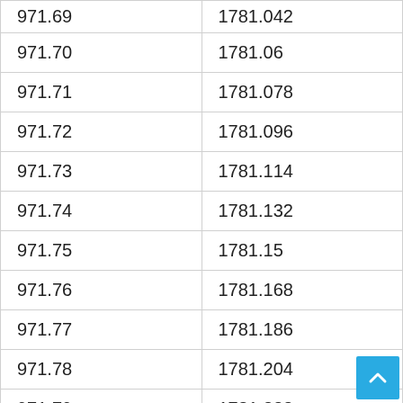| 971.69 | 1781.042 |
| 971.70 | 1781.06 |
| 971.71 | 1781.078 |
| 971.72 | 1781.096 |
| 971.73 | 1781.114 |
| 971.74 | 1781.132 |
| 971.75 | 1781.15 |
| 971.76 | 1781.168 |
| 971.77 | 1781.186 |
| 971.78 | 1781.204 |
| 971.79 | 1781.222 |
| 971.80 | 1781.24 |
| 971.81 | 1781.258 |
| 971.82 | 1781.276 |
| 971.83 | 1781.294 |
| 971.84 | 1781.312 |